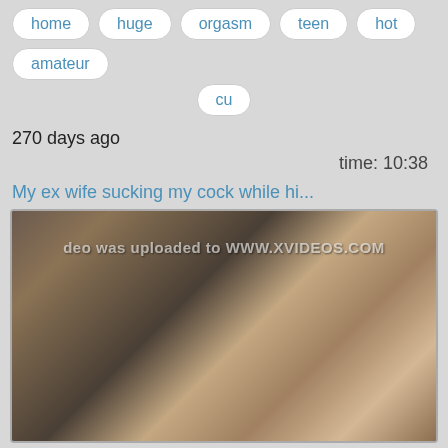home   huge   orgasm   teen   hot   amateur
cu
270 days ago
time: 10:38
My ex wife sucking my cock while hi...
[Figure (photo): Blurred/pixelated adult video thumbnail with watermark text 'deo was uploaded to WWW.XVIDEOS.COM']